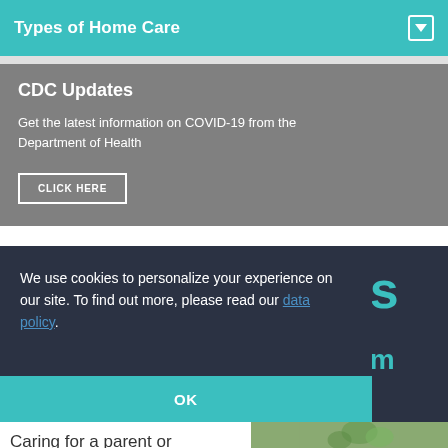Types of Home Care
CDC Updates
Get the latest information on COVID-19 from the Department of Health
CLICK HERE
We use cookies to personalize your experience on our site. To find out more, please read our data policy.
OK
Caring for a parent or